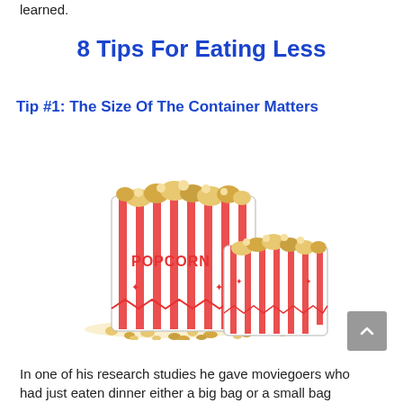learned.
8 Tips For Eating Less
Tip #1: The Size Of The Container Matters
[Figure (photo): Two red and white striped popcorn bags of different sizes with popcorn spilling out, on a white background.]
In one of his research studies he gave moviegoers who had just eaten dinner either a big bag or a small bag